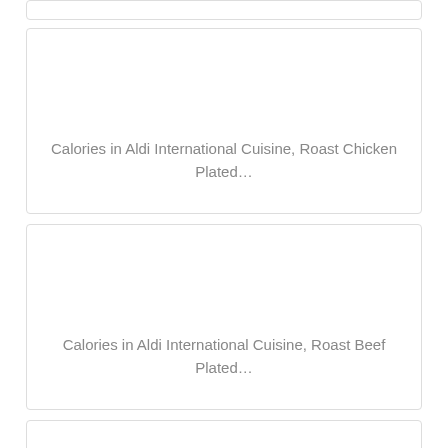[Figure (other): Partial card visible at top of page]
Calories in Aldi International Cuisine, Roast Chicken Plated…
Calories in Aldi International Cuisine, Roast Beef Plated…
[Figure (other): Partial card visible at bottom of page]